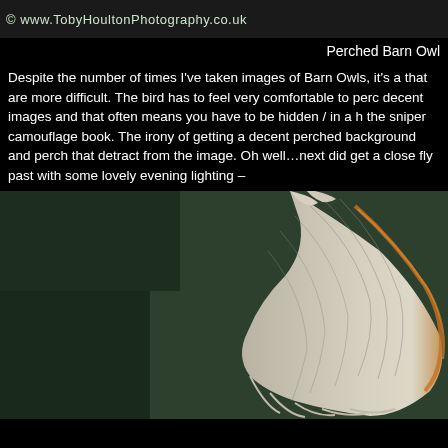[Figure (photo): Watermark bar showing website URL: © www.TobyHoultonPhotography.co.uk on dark background with teal accent]
Perched Barn Owl
Despite the number of times I've taken images of Barn Owls, it's a that are more difficult. The bird has to feel very comfortable to perc decent images and that often means you have to be hidden / in a h the sniper camouflage book. The irony of getting a decent perched background and perch that detract from the image. Oh well…next did get a close fly past with some lovely evening lighting –
[Figure (photo): Close-up photograph of a Barn Owl wing in flight against a dark green background, showing white feathers with golden evening light on the edge, wings spread downward]